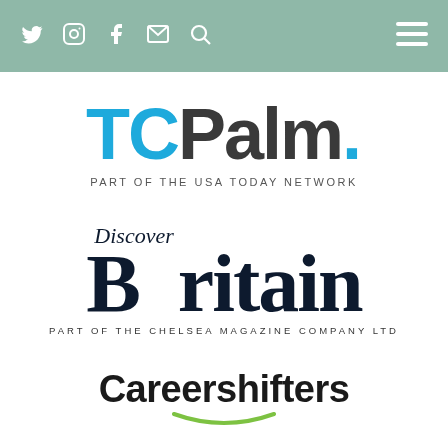Navigation bar with social icons (Twitter, Instagram, Facebook, Email, Search) and hamburger menu on teal/sage background. Watermark text: WILTSHIRE
[Figure (logo): TCPalm logo — 'TC' in blue, 'Palm.' in dark charcoal, with tagline 'PART OF THE USA TODAY NETWORK']
[Figure (logo): Discover Britain logo — serif font with 'Discover' italic above large 'Britain', tagline 'PART OF THE CHELSEA MAGAZINE COMPANY LTD']
[Figure (logo): Careershifters logo — bold sans-serif dark text with a green smile-arc underline beneath 'Career']